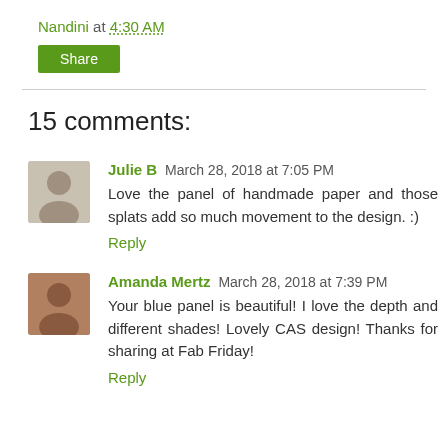Nandini at 4:30 AM
Share
15 comments:
Julie B March 28, 2018 at 7:05 PM
Love the panel of handmade paper and those splats add so much movement to the design. :)
Reply
Amanda Mertz March 28, 2018 at 7:39 PM
Your blue panel is beautiful! I love the depth and different shades! Lovely CAS design! Thanks for sharing at Fab Friday!
Reply